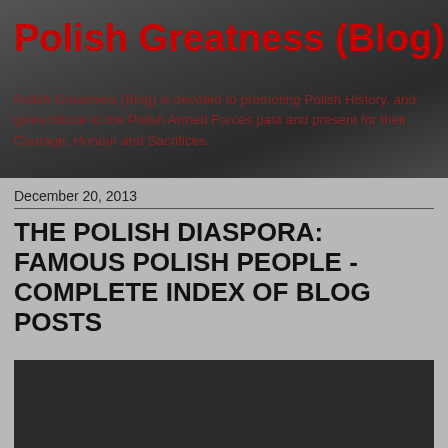Polish Greatness (Blog)
Polish Greatness (Blog) is devoted to promoting Polish History, and gives tribute to the Polish Armed Forces past and present for their Courage, Honour and Sacrifices.
December 20, 2013
THE POLISH DIASPORA: FAMOUS POLISH PEOPLE - COMPLETE INDEX OF BLOG POSTS
[Figure (photo): Dark rectangular image block, content not visible]